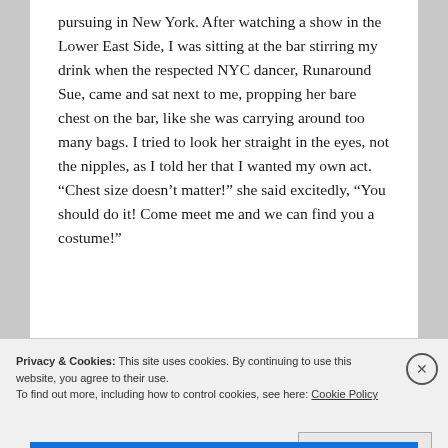pursuing in New York. After watching a show in the Lower East Side, I was sitting at the bar stirring my drink when the respected NYC dancer, Runaround Sue, came and sat next to me, propping her bare chest on the bar, like she was carrying around too many bags. I tried to look her straight in the eyes, not the nipples, as I told her that I wanted my own act. “Chest size doesn’t matter!” she said excitedly, “You should do it! Come meet me and we can find you a costume!”
Privacy & Cookies: This site uses cookies. By continuing to use this website, you agree to their use. To find out more, including how to control cookies, see here: Cookie Policy
Close and accept